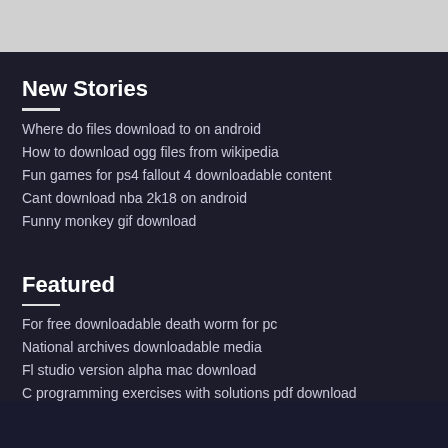New Stories
Where do files download to on android
How to download ogg files from wikipedia
Fun games for ps4 fallout 4 downloadable content
Cant download nba 2k18 on android
Funny monkey gif download
Featured
For free downloadable death worm for pc
National archives downloadable media
Fl studio version alpha mac download
C programming exercises with solutions pdf download